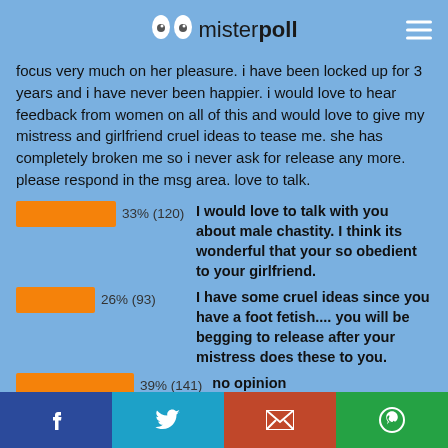misterpoll
focus very much on her pleasure. i have been locked up for 3 years and i have never been happier. i would love to hear feedback from women on all of this and would love to give my mistress and girlfriend cruel ideas to tease me. she has completely broken me so i never ask for release any more. please respond in the msg area. love to talk.
[Figure (bar-chart): Poll results]
354 voters have answered this question.
f  twitter  email  whatsapp